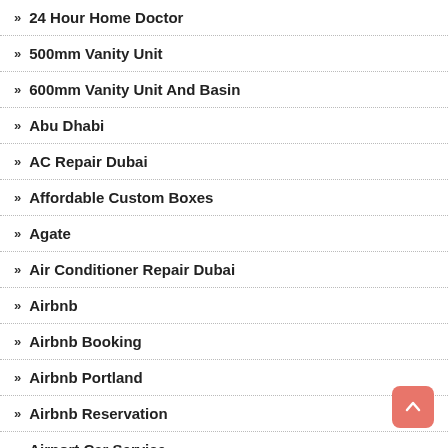24 Hour Home Doctor
500mm Vanity Unit
600mm Vanity Unit And Basin
Abu Dhabi
AC Repair Dubai
Affordable Custom Boxes
Agate
Air Conditioner Repair Dubai
Airbnb
Airbnb Booking
Airbnb Portland
Airbnb Reservation
Airport Car Service